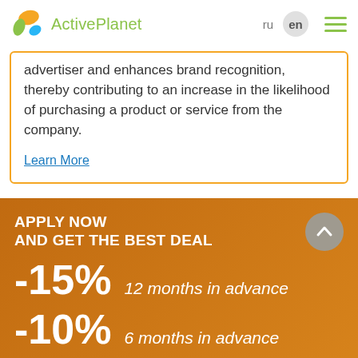ActivePlanet — ru en (navigation menu)
advertiser and enhances brand recognition, thereby contributing to an increase in the likelihood of purchasing a product or service from the company.
Learn More
APPLY NOW
AND GET THE BEST DEAL
-15%   12 months in advance
-10%   6 months in advance